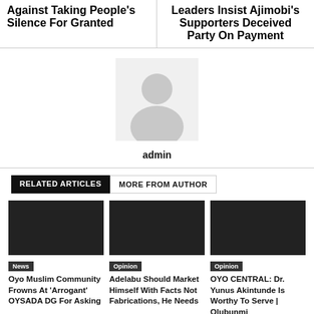Against Taking People's Silence For Granted
Leaders Insist Ajimobi's Supporters Deceived Party On Payment
[Figure (illustration): Default user avatar placeholder image in light gray]
admin
RELATED ARTICLES
MORE FROM AUTHOR
News
Oyo Muslim Community Frowns At 'Arrogant' OYSADA DG For Asking
Opinion
Adelabu Should Market Himself With Facts Not Fabrications, He Needs
Opinion
OYO CENTRAL: Dr. Yunus Akintunde Is Worthy To Serve | Olubunmi